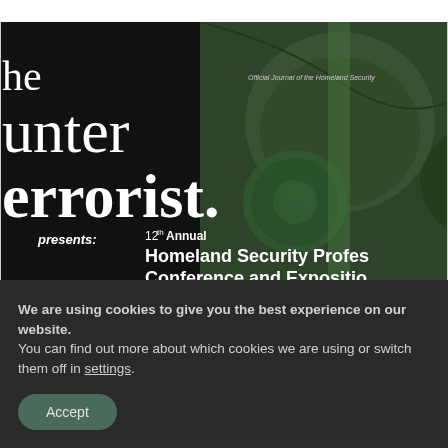[Figure (illustration): Magazine cover for 'Counterrorist.' publication showing a soldier in helmet with green tint overlay. Text reads: 'he', 'unter', 'errorist.', 'presents: 12th Annual Homeland Security Profes[sionals] Conference and Expositio[n]'. Small text: 'Official Journal of the Homeland Security [association]'.]
We are using cookies to give you the best experience on our website.
You can find out more about which cookies we are using or switch them off in settings.
Accept